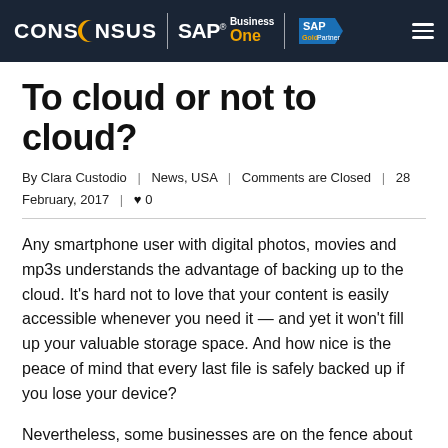CONSENSUS | SAP Business One | SAP Gold Partner
To cloud or not to cloud?
By Clara Custodio  |  News, USA  |  Comments are Closed  |  28 February, 2017  |  ♥ 0
Any smartphone user with digital photos, movies and mp3s understands the advantage of backing up to the cloud. It's hard not to love that your content is easily accessible whenever you need it — and yet it won't fill up your valuable storage space. And how nice is the peace of mind that every last file is safely backed up if you lose your device?
Nevertheless, some businesses are on the fence about taking a similar approach for their data, applications and resources. If yours is one of them, IDC recently published an infobrief that